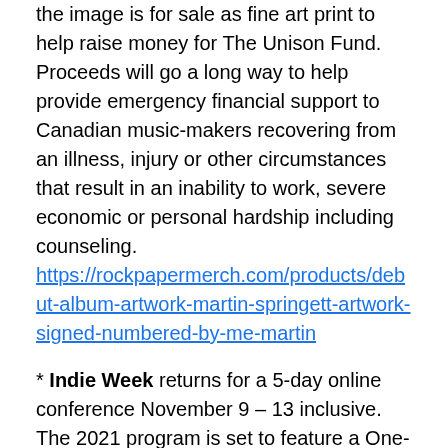the image is for sale as fine art print to help raise money for The Unison Fund. Proceeds will go a long way to help provide emergency financial support to Canadian music-makers recovering from an illness, injury or other circumstances that result in an inability to work, severe economic or personal hardship including counseling. https://rockpapermerch.com/products/debut-album-artwork-martin-springett-artwork-signed-numbered-by-me-martin
* Indie Week returns for a 5-day online conference November 9 – 13 inclusive. The 2021 program is set to feature a One-On-One interview with Marky Ramone (Rock & Roll Hall of Fame inductee – The Ramones), Steve Stewart (CEO, Vezt, Inc.), Margaret McGuffin (CEO, Music Publishers Canada), and Michael Anthony Alago (Former Elektra Records Exec who signed Metallica).